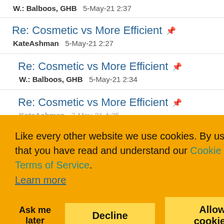W.: Balboos, GHB   5-May-21 2:37
Re: Cosmetic vs More Efficient
KateAshman   5-May-21 2:27
Re: Cosmetic vs More Efficient
W.: Balboos, GHB   5-May-21 2:34
Re: Cosmetic vs More Efficient
KateAshman   7-May-21 4:25
Like every other website we use cookies. By using our site you acknowledge that you have read and understand our Cookie Policy, Privacy Policy, and our Terms of Service.
Learn more
Ask me later   Decline   Allow cookies